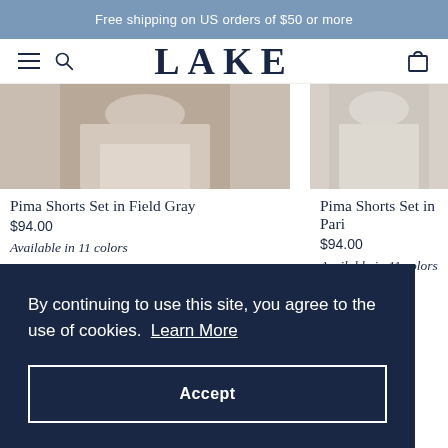Free shipping on US orders of $50 or more
[Figure (screenshot): Navigation bar with hamburger menu, search icon, LAKE logo, and cart icon]
[Figure (photo): Cropped photo of person wearing Pima Shorts Set in Field Gray]
Pima Shorts Set in Field Gray
$94.00
Available in 11 colors
[Figure (photo): Cropped photo of person wearing Pima Shorts Set in Pari[s]]
Pima Shorts Set in Pari
$94.00
Available in 11 colors
By continuing to use this site, you agree to the use of cookies. Learn More
Accept